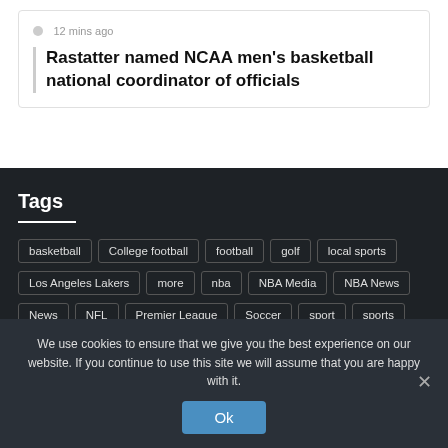12 mins ago
Rastatter named NCAA men's basketball national coordinator of officials
Tags
basketball
College football
football
golf
local sports
Los Angeles Lakers
more
nba
NBA Media
NBA News
News
NFL
Premier League
Soccer
sport
sports
We use cookies to ensure that we give you the best experience on our website. If you continue to use this site we will assume that you are happy with it.